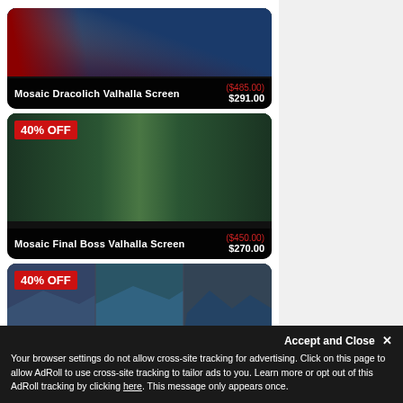[Figure (photo): Product card for Mosaic Dracolich Valhalla Screen showing dragon-themed mosaic art panels with original price ($485.00) crossed out and sale price $291.00]
[Figure (photo): Product card for Mosaic Final Boss Valhalla Screen with 40% OFF badge, showing green mosaic art panels with a bull/demon figure, original price ($450.00) crossed out and sale price $270.00]
[Figure (photo): Product card showing 40% OFF badge with blue/teal landscape mosaic screen panels, partially visible]
Accept and Close ✕
Your browser settings do not allow cross-site tracking for advertising. Click on this page to allow AdRoll to use cross-site tracking to tailor ads to you. Learn more or opt out of this AdRoll tracking by clicking here. This message only appears once.